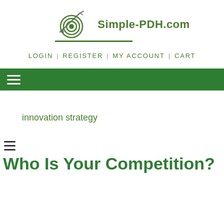[Figure (logo): Simple-PDH.com logo with target/bullseye and arrow graphic in green, with underline beneath]
LOGIN | REGISTER | MY ACCOUNT | CART
innovation strategy
Who Is Your Competition?